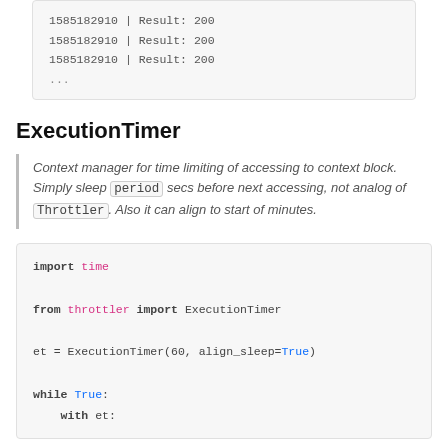1585182910 | Result: 200
1585182910 | Result: 200
1585182910 | Result: 200
...
ExecutionTimer
Context manager for time limiting of accessing to context block. Simply sleep period secs before next accessing, not analog of Throttler. Also it can align to start of minutes.
import time

from throttler import ExecutionTimer

et = ExecutionTimer(60, align_sleep=True)

while True:
    with et: